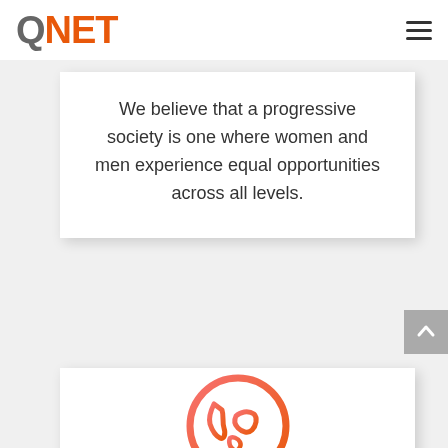QNET
We believe that a progressive society is one where women and men experience equal opportunities across all levels.
[Figure (illustration): Globe/earth icon rendered in coral/orange-red gradient outline style]